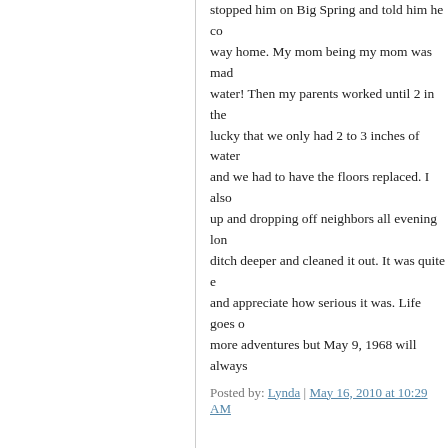stopped him on Big Spring and told him he could go home on his way home. My mom being my mom was mad when he came home all water! Then my parents worked until 2 in the morning but we were lucky that we only had 2 to 3 inches of water in the living room and we had to have the floors replaced. I also remember picking up and dropping off neighbors all evening long. Daddy dug the ditch deeper and cleaned it out. It was quite exciting at the time and appreciate how serious it was. Life goes on and we've had many more adventures but May 9, 1968 will always
Posted by: Lynda | May 16, 2010 at 10:29 AM
That's a great story, Lynda. Thanks for sharing
Posted by: Geo | May 16, 2010 at 12:49 PM
Your blog has inspired me. Recently, I have a soul, and I have been looking for that book! T direction!
Posted by: Ajf 6 | July 06, 2010 at 11:02 PM
I was in, I think, the 4th grade and was at Bov school being 2 and 3 years younger than me.